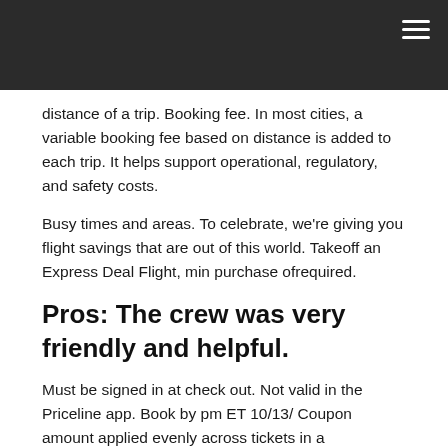distance of a trip. Booking fee. In most cities, a variable booking fee based on distance is added to each trip. It helps support operational, regulatory, and safety costs.
Busy times and areas. To celebrate, we're giving you flight savings that are out of this world. Takeoff an Express Deal Flight, min purchase ofrequired.
Pros: The crew was very friendly and helpful.
Must be signed in at check out. Not valid in the Priceline app. Book by pm ET 10/13/ Coupon amount applied evenly across tickets in a transaction. Final discount may be +/-Book Now. While Niagara Falls International Airport (IAG) is